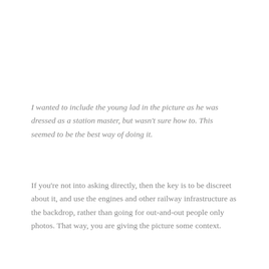I wanted to include the young lad in the picture as he was dressed as a station master, but wasn't sure how to. This seemed to be the best way of doing it.
If you're not into asking directly, then the key is to be discreet about it, and use the engines and other railway infrastructure as the backdrop, rather than going for out-and-out people only photos. That way, you are giving the picture some context.